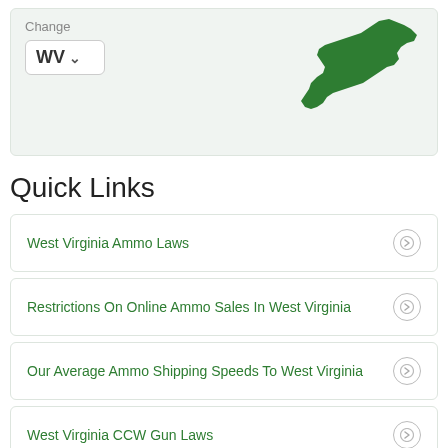[Figure (map): West Virginia state silhouette map in dark green, shown in top-right of a light green box, with a 'Change' label and a WV dropdown selector on the left]
Quick Links
West Virginia Ammo Laws
Restrictions On Online Ammo Sales In West Virginia
Our Average Ammo Shipping Speeds To West Virginia
West Virginia CCW Gun Laws
West Virginia FFL Dealers
Federal Representatives From West Virginia